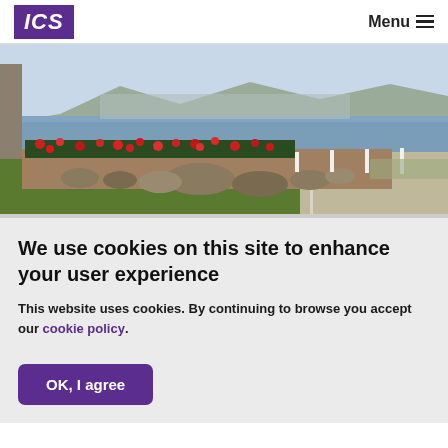ICS   Menu
[Figure (photo): Outdoor landscape photo showing a waterfront park with red flowering plants in a raised garden bed bordered by rocks, green lawn, a pathway, and a large body of water with mountains in the background under a clear sky.]
We use cookies on this site to enhance your user experience
This website uses cookies. By continuing to browse you accept our cookie policy.
OK, I agree